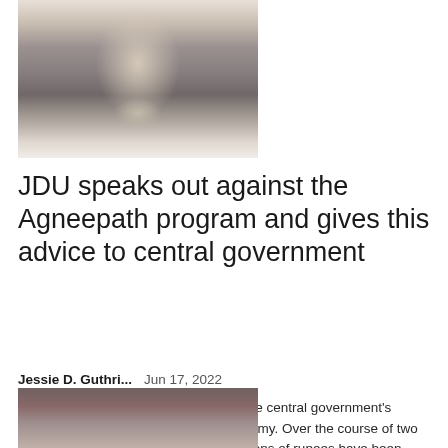[Figure (photo): A man in white clothing raising one finger, speaking at a microphone — appears to be a political figure speaking at a press event]
JDU speaks out against the Agneepath program and gives this advice to central government
Jessie D. Guthri...   Jun 17, 2022
Patna: Young people in Bihar oppose the central government's Agneepath program to recruit into the army. Over the course of two days, government properties worth millions of rupees have been blown up during the protest, but leaders of...
[Figure (photo): Partial photo visible at bottom of page — appears to show a building or crowd scene]